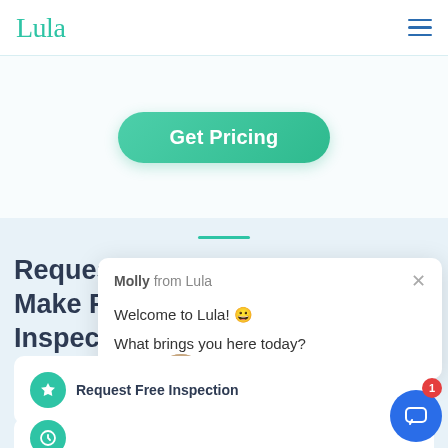[Figure (screenshot): Lula website screenshot showing navigation bar with Lula logo and hamburger menu, a Get Pricing button, a Request Free Make Ready Inspection section with a chat popup from Molly from Lula saying 'Welcome to Lula! 😀 What brings you here today?', and a Request Free Inspection card at the bottom with a chat widget button showing badge count of 1.]
Lula
Get Pricing
Request Free Make Ready Inspection
Molly from Lula
Welcome to Lula! 😀
What brings you here today?
Request Free Inspection